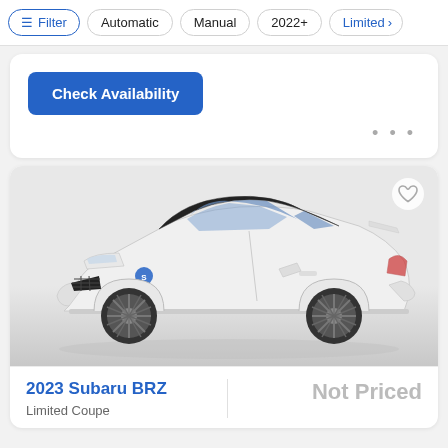Filter | Automatic | Manual | 2022+ | Limited
Check Availability
[Figure (photo): White 2023 Subaru BRZ coupe photographed from a front three-quarter angle on a light gray gradient background]
2023 Subaru BRZ
Limited Coupe
Not Priced